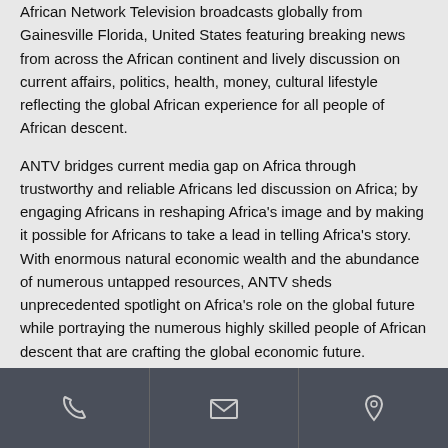African Network Television broadcasts globally from Gainesville Florida, United States featuring breaking news from across the African continent and lively discussion on current affairs, politics, health, money, cultural lifestyle reflecting the global African experience for all people of African descent.
ANTV bridges current media gap on Africa through trustworthy and reliable Africans led discussion on Africa; by engaging Africans in reshaping Africa's image and by making it possible for Africans to take a lead in telling Africa's story. With enormous natural economic wealth and the abundance of numerous untapped resources, ANTV sheds unprecedented spotlight on Africa's role on the global future while portraying the numerous highly skilled people of African descent that are crafting the global economic future.
ANTV Network provides reliable central platform for serious
phone | email | location